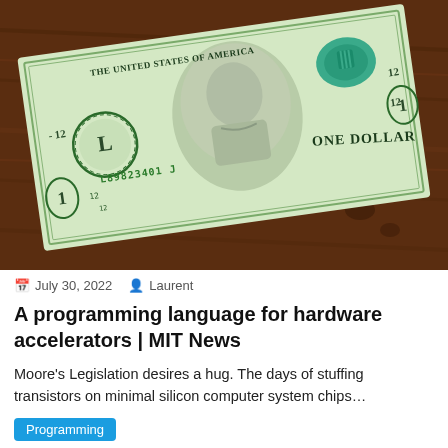[Figure (photo): A US one dollar bill lying on a dark wooden table surface, showing George Washington's portrait, serial number L89823401J, and text THE UNITED STATES OF AMERICA and ONE DOLLAR.]
July 30, 2022   Laurent
A programming language for hardware accelerators | MIT News
Moore's Legislation desires a hug. The days of stuffing transistors on minimal silicon computer system chips…
Programming